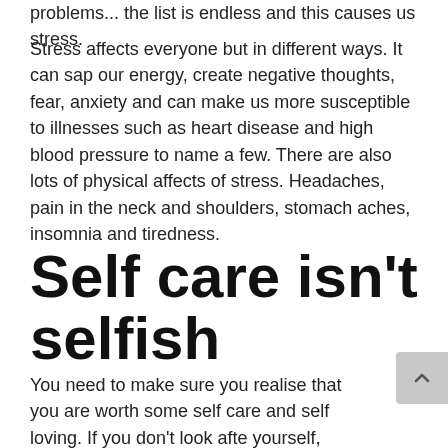problems... the list is endless and this causes us stress.
Stress affects everyone but in different ways. It can sap our energy, create negative thoughts, fear, anxiety and can make us more susceptible to illnesses such as heart disease and high blood pressure to name a few. There are also lots of physical affects of stress. Headaches, pain in the neck and shoulders, stomach aches, insomnia and tiredness.
Self care isn't selfish
You need to make sure you realise that you are worth some self care and self loving. If you don't look after yourself, who will? And if you don't look after yours how will you have the energy or motivation to look after